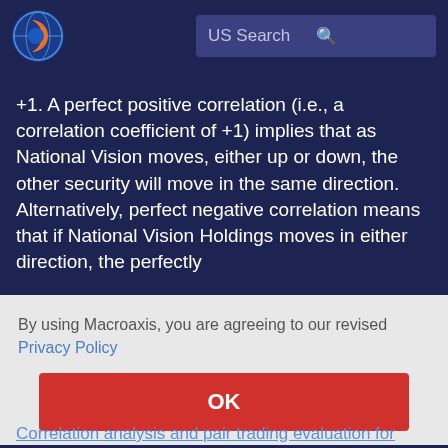US Search
+1. A perfect positive correlation (i.e., a correlation coefficient of +1) implies that as National Vision moves, either up or down, the other security will move in the same direction. Alternatively, perfect negative correlation means that if National Vision Holdings moves in either direction, the perfectly
By using Macroaxis, you are agreeing to our revised Privacy Policy
OK
Correlation analysis and pair trading evaluation for